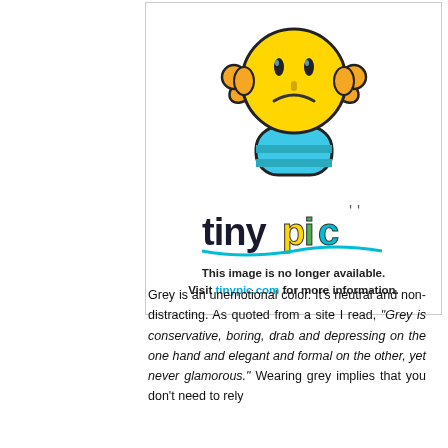[Figure (illustration): Tinypic placeholder image: a sad yellow emoji character with orange hands raised, blue rounded body/legs, and the 'tinypic' colorful logo below. Below the logo: bold text reading 'This image is no longer available. Visit tinypic.com for more information.']
Grey is an unemotional color. It's neutral and non-distracting. As quoted from a site I read, "Grey is conservative, boring, drab and depressing on the one hand and elegant and formal on the other, yet never glamorous." Wearing grey implies that you don't need to rely